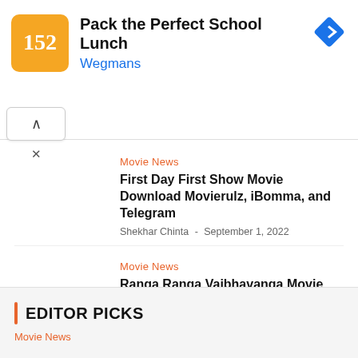[Figure (other): Advertisement banner for Wegmans - Pack the Perfect School Lunch]
Movie News
First Day First Show Movie Download Movierulz, iBomma, and Telegram
Shekhar Chinta  -  September 1, 2022
Movie News
Ranga Ranga Vaibhavanga Movie Download Movierulz, iBomma, and Telegram
Shekhar Chinta  -  September 1, 2022
EDITOR PICKS
Movie News